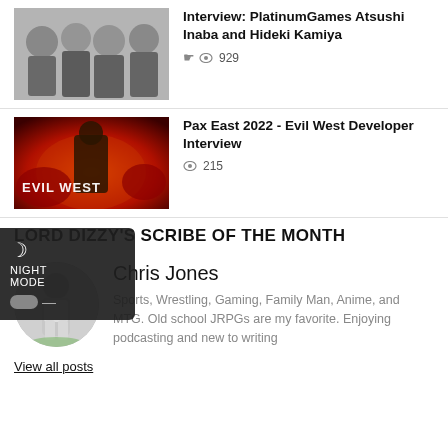[Figure (photo): Group photo of four men standing together indoors, wearing black t-shirts with lanyards]
Interview: PlatinumGames Atsushi Inaba and Hideki Kamiya
929
[Figure (photo): Evil West game promotional art with red fiery background and armored character, text EVIL WEST]
Pax East 2022 - Evil West Developer Interview
215
LORD DIZZY'S SCRIBE OF THE MONTH
[Figure (photo): Circular avatar photo of Chris Jones, a man in a light-colored outfit standing outdoors]
Chris Jones
Sports, Wrestling, Gaming, Family Man, Anime, and MTG. Old school JRPGs are my favorite. Enjoying podcasting and new to writing
View all posts